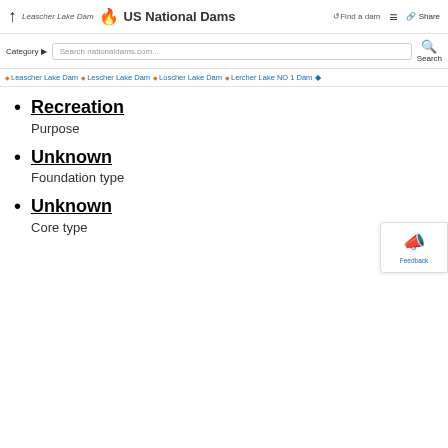Leascher Lake Dam | US National Dams | Find a dam | Share
Category | Search nationaldams.com... | Search
Leascher Lake Dam | Lescher Lake Dam | Loscher Lake Dam | Lercher Lake NO 1 Dam
Recreation
Purpose
Unknown
Foundation type
Unknown
Core type